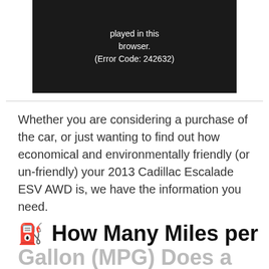[Figure (screenshot): Video player showing error message: 'played in this browser. (Error Code: 242632)' on black background]
Whether you are considering a purchase of the car, or just wanting to find out how economical and environmentally friendly (or un-friendly) your 2013 Cadillac Escalade ESV AWD is, we have the information you need.
⛽ How Many Miles per Gallon (MPG) Does a 2013 Cadillac...